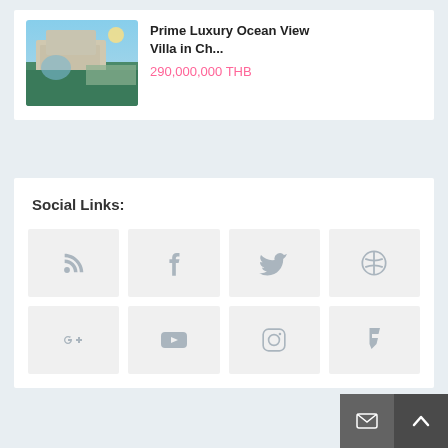Prime Luxury Ocean View Villa in Ch...
290,000,000 THB
Social Links:
[Figure (infographic): Eight social media icon boxes arranged in a 4x2 grid: RSS feed, Facebook, Twitter, Dribbble (top row); Google+, YouTube, Instagram, Foursquare (bottom row)]